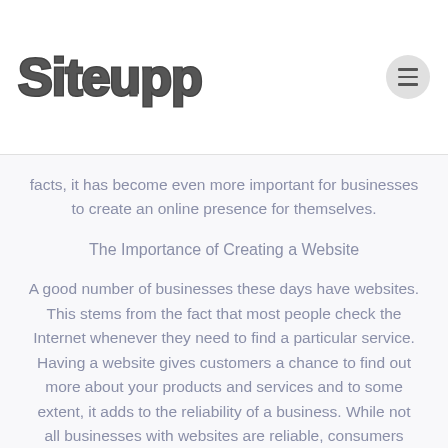Siteupp
facts, it has become even more important for businesses to create an online presence for themselves.
The Importance of Creating a Website
A good number of businesses these days have websites. This stems from the fact that most people check the Internet whenever they need to find a particular service. Having a website gives customers a chance to find out more about your products and services and to some extent, it adds to the reliability of a business. While not all businesses with websites are reliable, consumers tend to trust businesses more when they can readily check for information online.
Having a website also makes it easier for you to get your message across to your consumers. In fact, having a website can significantly reduce advertising costs for your